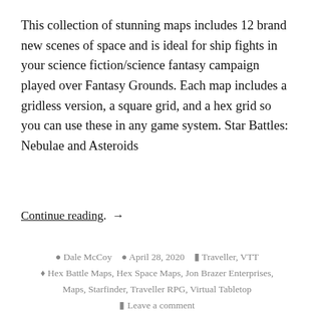This collection of stunning maps includes 12 brand new scenes of space and is ideal for ship fights in your science fiction/science fantasy campaign played over Fantasy Grounds. Each map includes a gridless version, a square grid, and a hex grid so you can use these in any game system. Star Battles: Nebulae and Asteroids
Continue reading. →
Dale McCoy  April 28, 2020  Traveller, VTT  Hex Battle Maps, Hex Space Maps, Jon Brazer Enterprises, Maps, Starfinder, Traveller RPG, Virtual Tabletop  Leave a comment